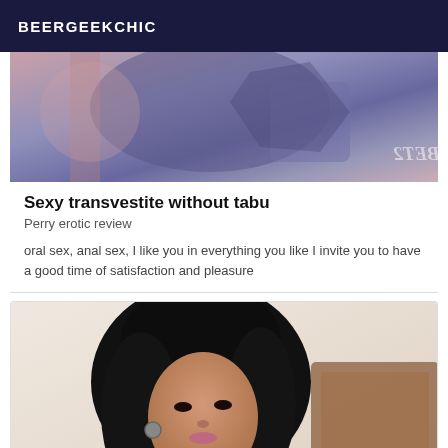BEERGEEKCHIC
[Figure (photo): Close-up photo of clothing/fabric in blues and purples with a watermark reading 'BET2' mirrored]
Sexy transvestite without tabu
Perry erotic review
oral sex, anal sex, I like you in everything you like I invite you to have a good time of satisfaction and pleasure
[Figure (photo): Portrait photo of a young woman with long dark curly hair, wearing a black top, seated near a wooden chair/furniture against a light wall]